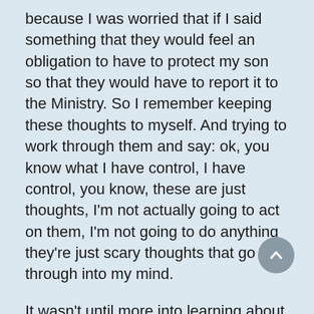because I was worried that if I said something that they would feel an obligation to have to protect my son so that they would have to report it to the Ministry. So I remember keeping these thoughts to myself. And trying to work through them and say: ok, you know what I have control, I have control, you know, these are just thoughts, I'm not actually going to act on them, I'm not going to do anything they're just scary thoughts that go through into my mind.
It wasn't until more into learning about self-care and learning about post partum